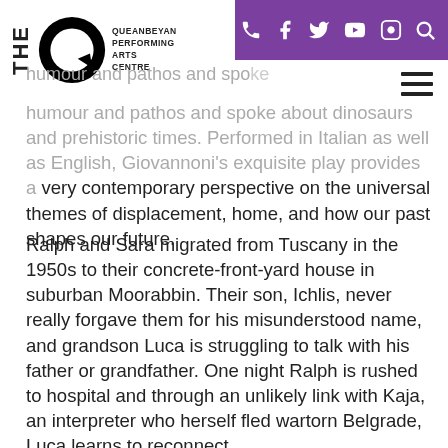THE Q – Queanbeyan Performing Arts Centre [logo] | social icons
humour and pathos and spoke about dinosaurs and prehistoric times. Performed in Italian as well as English, Giovannoni's exquisite play provides a very contemporary perspective on the universal themes of displacement, home, and how our past shapes our future.
Ralph and Sara migrated from Tuscany in the 1950s to their concrete-front-yard house in suburban Moorabbin. Their son, Ichlis, never really forgave them for his misunderstood name, and grandson Luca is struggling to talk with his father or grandfather. One night Ralph is rushed to hospital and through an unlikely link with Kaja, an interpreter who herself fled wartorn Belgrade, Luca learns to reconnect.
Dan Giovannoni's magical new play, Jurassica, weaves the past and present together, exploring what it is to migrate, to be displaced and to spend the rest of your